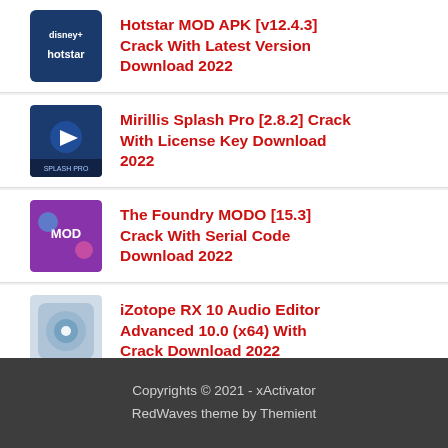Hotstar MOD APK [v12.4.3] Crack With Latest Version Download 2022
Mirillis Splash Pro [2.8.2] Crack With License Key Download 2022
The Foundry MODO [15.3] Crack With Serial Code Download 2022
iZotope RX 10 Audio Editor Advanced 10.0 (x64) With Crack Download 2022
EaseUS Data Recovery Wizard Technician [15.0.0.0] Crack With Free Download 2022
Copyrights © 2021 - xActivator
RedWaves theme by Themient